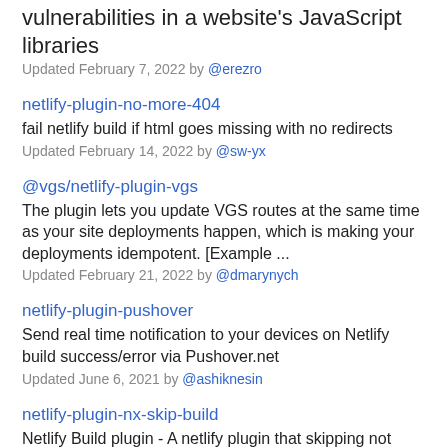vulnerabilities in a website's JavaScript libraries
Updated February 7, 2022 by @erezro
netlify-plugin-no-more-404
fail netlify build if html goes missing with no redirects
Updated February 14, 2022 by @sw-yx
@vgs/netlify-plugin-vgs
The plugin lets you update VGS routes at the same time as your site deployments happen, which is making your deployments idempotent. [Example ...
Updated February 21, 2022 by @dmarynych
netlify-plugin-pushover
Send real time notification to your devices on Netlify build success/error via Pushover.net
Updated June 6, 2021 by @ashiknesin
netlify-plugin-nx-skip-build
Netlify Build plugin - A netlify plugin that skipping not affected apps in your nx workspace.